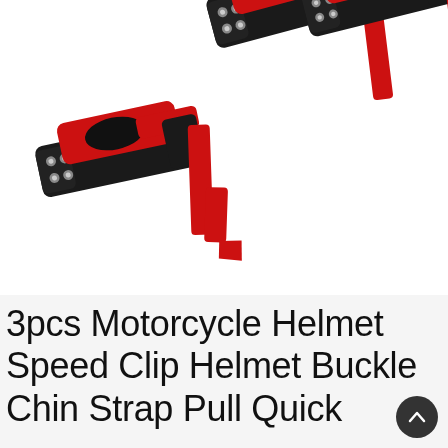[Figure (photo): Three black and red motorcycle helmet chin strap quick-release buckle clips arranged on a white background. One buckle is in the foreground lower-left, two buckles are in the upper-right area. Each buckle has a red plastic pull tab and red webbing strap.]
3pcs Motorcycle Helmet Speed Clip Helmet Buckle Chin Strap Pull Quick